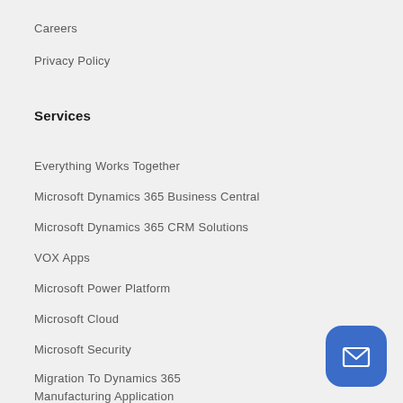Careers
Privacy Policy
Services
Everything Works Together
Microsoft Dynamics 365 Business Central
Microsoft Dynamics 365 CRM Solutions
VOX Apps
Microsoft Power Platform
Microsoft Cloud
Microsoft Security
Migration To Dynamics 365
Manufacturing Application
VOX ISM Consulting Service